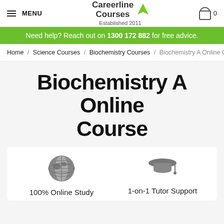MENU | Careerline Courses Established 2011 | Cart 0
Need help? Reach out on 1300 172 882 for free advice.
Home / Science Courses / Biochemistry Courses / Biochemistry A Online Cou
Biochemistry A Online Course
100% Online Study
1-on-1 Tutor Support